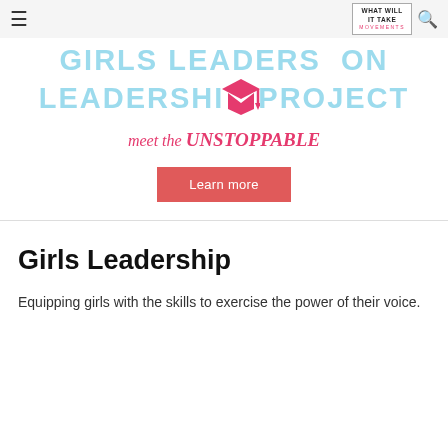≡  WHAT WILL IT TAKE MOVEMENTS 🔍
[Figure (logo): Girls Leadership Project logo with light blue large text 'GIRLS LEADERSHIP PROJECT' and a pink/magenta graduation cap icon, with italic text 'meet the UNSTOPPABLE' in pink below]
Learn more
Girls Leadership
Equipping girls with the skills to exercise the power of their voice.